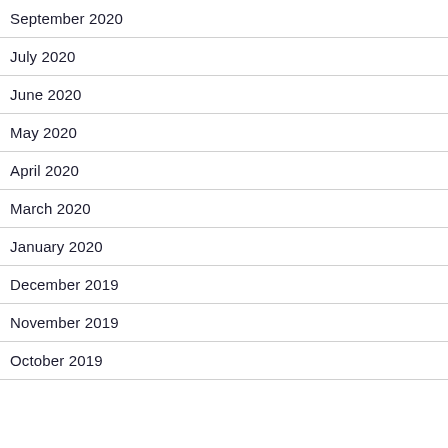September 2020
July 2020
June 2020
May 2020
April 2020
March 2020
January 2020
December 2019
November 2019
October 2019